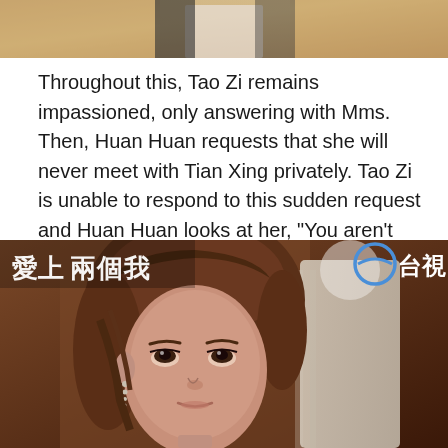[Figure (photo): Top portion of a TV screenshot showing a person in a light-colored jacket against a golden/yellow background]
Throughout this, Tao Zi remains impassioned, only answering with Mms. Then, Huan Huan requests that she will never meet with Tian Xing privately. Tao Zi is unable to respond to this sudden request and Huan Huan looks at her, "You aren't saying anything?"
[Figure (photo): TV screenshot of a young Asian woman with brown hair looking upward with a concerned expression. Chinese text overlay reads 愛上兩個我 in the top left and a TV station logo 台視 in the top right.]